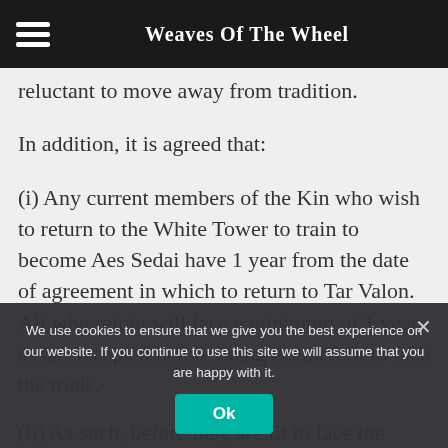Weaves of The Wheel
reluctant to move away from tradition.
In addition, it is agreed that:
(i) Any current members of the Kin who wish to return to the White Tower to train to become Aes Sedai have 1 year from the date of agreement in which to return to Tar Valon. All who rejoin will face a minimum of 1 year as an Accepted before being deemed fit to face the trials.
(ii) As such, before they are fit to face the trials for Aes
We use cookies to ensure that we give you the best experience on our website. If you continue to use this site we will assume that you are happy with it.